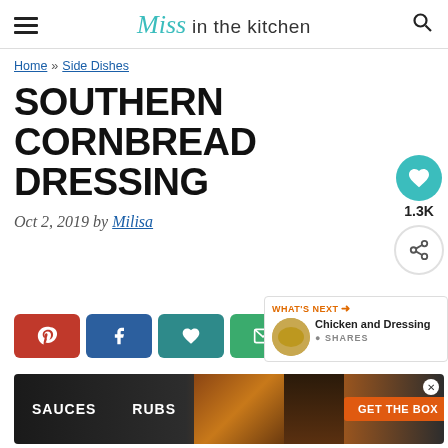Miss in the kitchen
Home » Side Dishes
SOUTHERN CORNBREAD DRESSING
Oct 2, 2019 by Milisa
[Figure (infographic): Social share buttons: Pinterest (red), Facebook (blue), heart/save (teal), email (green), Yum (orange)]
[Figure (infographic): What's Next panel showing Chicken and Dressing with thumbnail and SHARES label]
[Figure (screenshot): Advertisement banner with SAUCES, RUBS text and GET THE BOX call to action button]